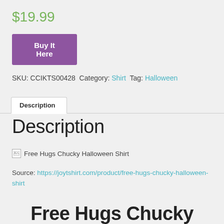$19.99
Buy It Here
SKU: CCIKTS00428 Category: Shirt Tag: Halloween
Description
Description
[Figure (photo): Broken image placeholder with alt text: Free Hugs Chucky Halloween Shirt]
Source: https://joytshirt.com/product/free-hugs-chucky-halloween-shirt
Free Hugs Chucky